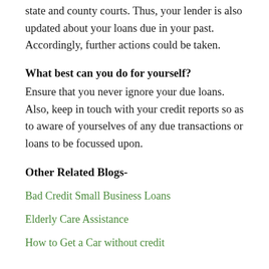state and county courts. Thus, your lender is also updated about your loans due in your past. Accordingly, further actions could be taken.
What best can you do for yourself?
Ensure that you never ignore your due loans. Also, keep in touch with your credit reports so as to aware of yourselves of any due transactions or loans to be focussed upon.
Other Related Blogs-
Bad Credit Small Business Loans
Elderly Care Assistance
How to Get a Car without credit